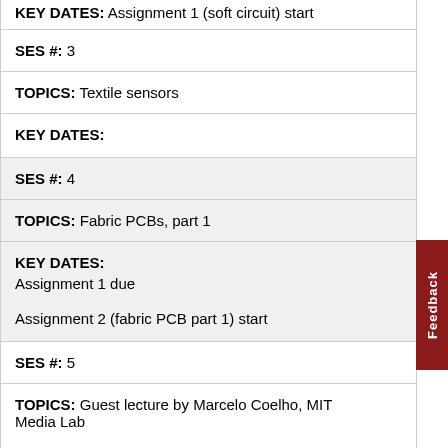KEY DATES: Assignment 1 (soft circuit) start
SES #: 3
TOPICS: Textile sensors
KEY DATES:
SES #: 4
TOPICS: Fabric PCBs, part 1
KEY DATES:
Assignment 1 due

Assignment 2 (fabric PCB part 1) start
SES #: 5
TOPICS: Guest lecture by Marcelo Coelho, MIT Media Lab